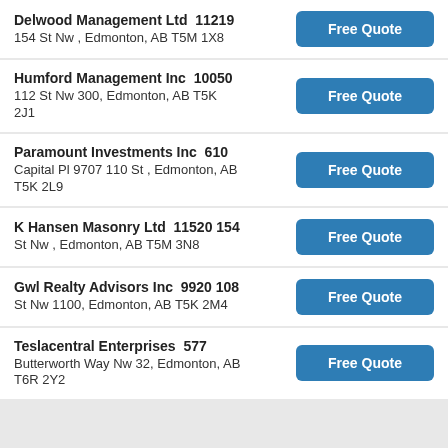Delwood Management Ltd  11219  154 St Nw , Edmonton, AB T5M 1X8
Humford Management Inc  10050  112 St Nw 300, Edmonton, AB T5K 2J1
Paramount Investments Inc  610  Capital Pl 9707 110 St , Edmonton, AB T5K 2L9
K Hansen Masonry Ltd  11520 154 St Nw , Edmonton, AB T5M 3N8
Gwl Realty Advisors Inc  9920 108 St Nw 1100, Edmonton, AB T5K 2M4
Teslacentral Enterprises  577 Butterworth Way Nw 32, Edmonton, AB T6R 2Y2